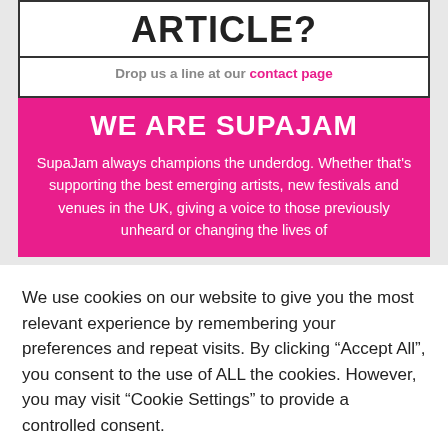ARTICLE?
Drop us a line at our contact page
WE ARE SUPAJAM
SupaJam always champions the underdog. Whether that's supporting the best emerging artists, new festivals and venues in the UK, giving a voice to those previously unheard or changing the lives of
We use cookies on our website to give you the most relevant experience by remembering your preferences and repeat visits. By clicking “Accept All”, you consent to the use of ALL the cookies. However, you may visit "Cookie Settings" to provide a controlled consent.
Cookie Settings | Accept All